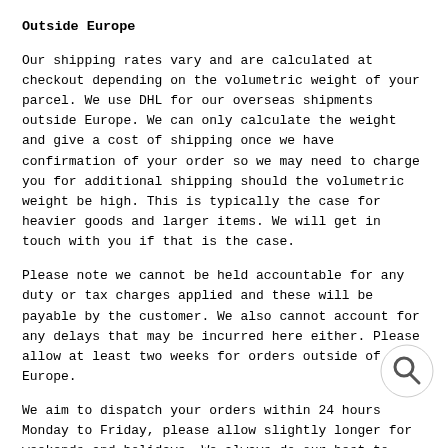Outside Europe
Our shipping rates vary and are calculated at checkout depending on the volumetric weight of your parcel. We use DHL for our overseas shipments outside Europe. We can only calculate the weight and give a cost of shipping once we have confirmation of your order so we may need to charge you for additional shipping should the volumetric weight be high. This is typically the case for heavier goods and larger items. We will get in touch with you if that is the case.
Please note we cannot be held accountable for any duty or tax charges applied and these will be payable by the customer. We also cannot account for any delays that may be incurred here either. Please allow at least two weeks for orders outside of Europe.
We aim to dispatch your orders within 24 hours Monday to Friday, please allow slightly longer for weekends and holidays. We always do our best to deliver order as fast as possible and we will let you know you about anticipated delays as soon as we can.